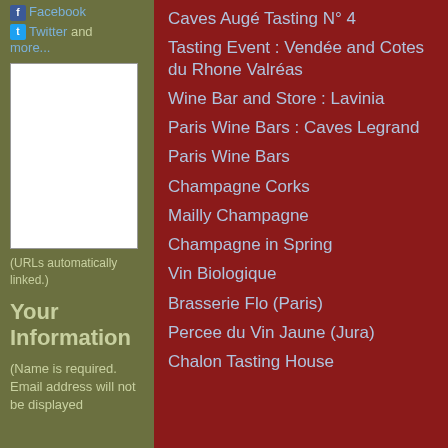Facebook Twitter and more...
[Figure (other): Text area input box (white rectangle)]
(URLs automatically linked.)
Your Information
(Name is required. Email address will not be displayed
Caves Augé Tasting N° 4
Tasting Event : Vendée and Cotes du Rhone Valréas
Wine Bar and Store : Lavinia
Paris Wine Bars : Caves Legrand
Paris Wine Bars
Champagne Corks
Mailly Champagne
Champagne in Spring
Vin Biologique
Brasserie Flo (Paris)
Percee du Vin Jaune (Jura)
Chalon Tasting House